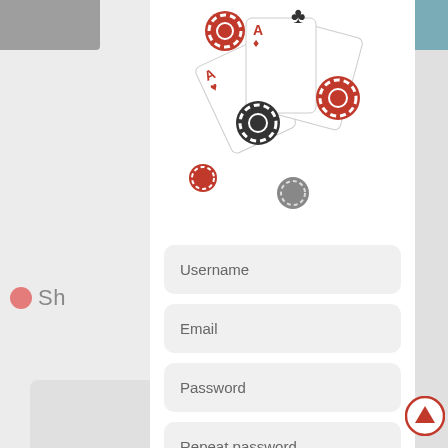[Figure (illustration): Casino themed illustration with playing cards (Aces) and poker chips in red and black colors, scattered/floating arrangement]
Sh
Username
Email
Password
Repeat password
Sign up